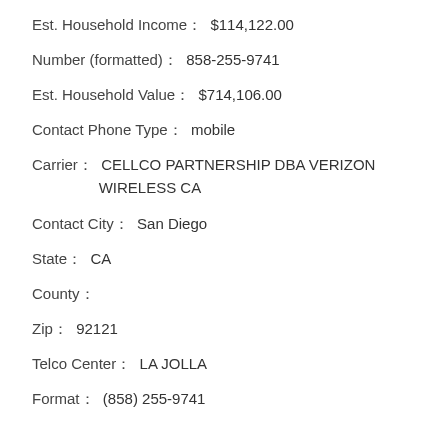Est. Household Income：  $114,122.00
Number (formatted)：  858-255-9741
Est. Household Value：  $714,106.00
Contact Phone Type：  mobile
Carrier：  CELLCO PARTNERSHIP DBA VERIZON WIRELESS CA
Contact City：  San Diego
State：  CA
County：
Zip：  92121
Telco Center：  LA JOLLA
Format：  (858) 255-9741